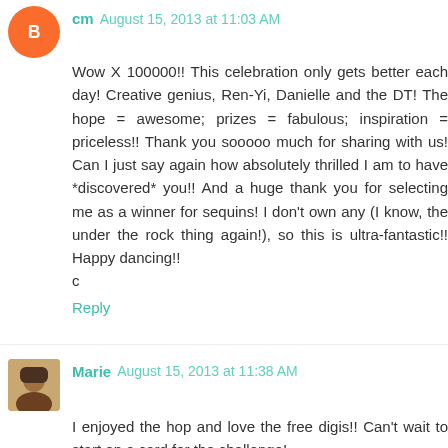cm August 15, 2013 at 11:03 AM
Wow X 100000!! This celebration only gets better each day! Creative genius, Ren-Yi, Danielle and the DT! The hope = awesome; prizes = fabulous; inspiration = priceless!! Thank you sooooo much for sharing with us! Can I just say again how absolutely thrilled I am to have *discovered* you!! And a huge thank you for selecting me as a winner for sequins! I don't own any (I know, the under the rock thing again!), so this is ultra-fantastic!! Happy dancing!!
c
Reply
Marie  August 15, 2013 at 11:38 AM
I enjoyed the hop and love the free digis!! Can't wait to start on a card for the challenge!
Reply
Jessica Pascarella  August 15, 2013 at 11:41 AM
Off to hop and then to create! Those digis look fun!